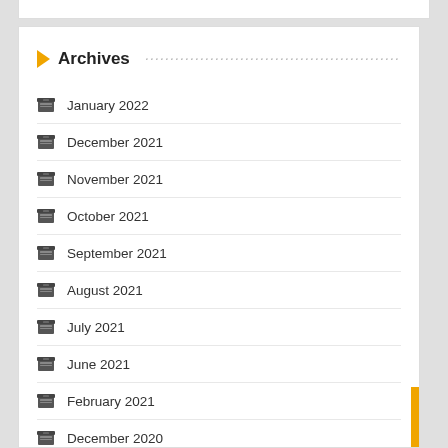Archives
January 2022
December 2021
November 2021
October 2021
September 2021
August 2021
July 2021
June 2021
February 2021
December 2020